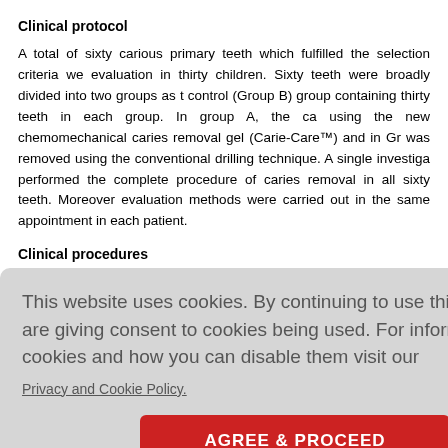Clinical protocol
A total of sixty carious primary teeth which fulfilled the selection criteria we evaluation in thirty children. Sixty teeth were broadly divided into two groups as t control (Group B) group containing thirty teeth in each group. In group A, the ca using the new chemomechanical caries removal gel (Carie-Care™) and in Gr was removed using the conventional drilling technique. A single investiga performed the complete procedure of caries removal in all sixty teeth. Moreover evaluation methods were carried out in the same appointment in each patient.
Clinical procedures
re using b dure, (2) rel ral was carr
ethod (Carie
plied to the he gel and or without a was hard.
removed and the cavity was wiped with a moistened cotton pellet and rinse
[Figure (screenshot): Cookie consent overlay with text 'This website uses cookies. By continuing to use this website you are giving consent to cookies being used. For information on cookies and how you can disable them visit our Privacy and Cookie Policy.' and an AGREE & PROCEED button.]